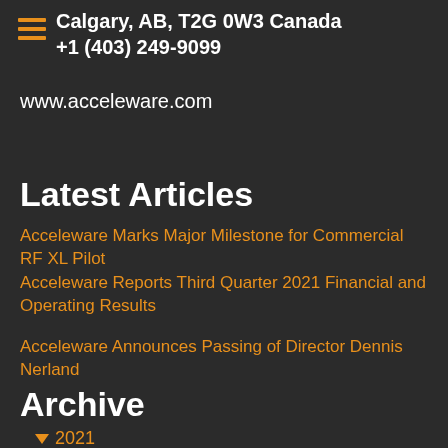Calgary, AB, T2G 0W3 Canada
+1 (403) 249-9099
www.acceleware.com
Latest Articles
Acceleware Marks Major Milestone for Commercial RF XL Pilot
Acceleware Reports Third Quarter 2021 Financial and Operating Results
Acceleware Announces Passing of Director Dennis Nerland
Archive
▼ 2021
December